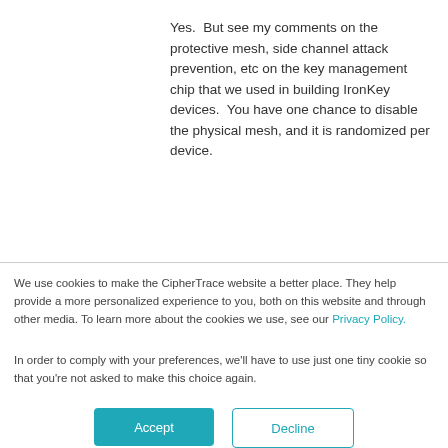Yes.  But see my comments on the protective mesh, side channel attack prevention, etc on the key management chip that we used in building IronKey devices.  You have one chance to disable the physical mesh, and it is randomized per device.
We use cookies to make the CipherTrace website a better place. They help provide a more personalized experience to you, both on this website and through other media. To learn more about the cookies we use, see our Privacy Policy.
In order to comply with your preferences, we'll have to use just one tiny cookie so that you're not asked to make this choice again.